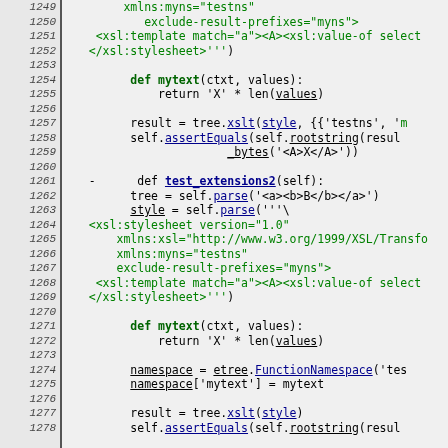[Figure (screenshot): Source code viewer showing Python/XSLT code lines 1249-1278 with line numbers on left, monospace font, green XML strings and blue underlined identifiers on gray background]